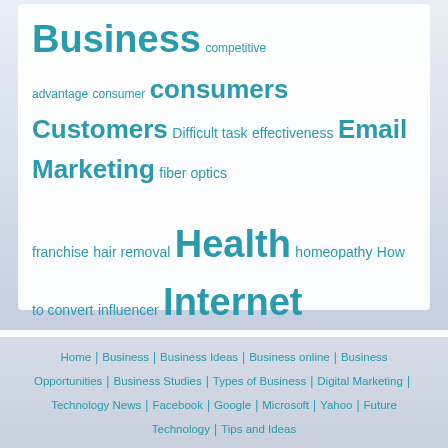[Figure (infographic): Tag cloud with topics: Business, competitive advantage, consumer, consumers, Customers, Difficult task, effectiveness, Email Marketing, fiber optics, franchise, hair removal, Health, homeopathy, How to convert, influencer, Internet, IT project management, little chance of success, Microsoft Surface 3, milk, opportunity, Oral hygiene, Prevention, Psychology of choice, Renaming a brand, SEO, Shipping costs, shopping online, showrooming, Social Media, social networks, sports, The benefits, Tips, treatment, Virtual machines, What are the advantages, what they are?, What to know, Yogurt]
Home | Business | Business Ideas | Business online | Business Opportunities | Business Studies | Types of Business | Digital Marketing | Technology News | Facebook | Google | Microsoft | Yahoo | Future Technology | Tips and Ideas